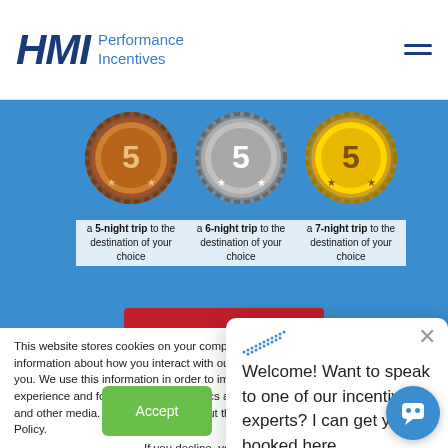HMI Performance Incentives
[Figure (illustration): Three medals (bronze, silver, gold) each with a number, with text below: 'a 5-night trip to the destination of your choice', 'a 6-night trip to the destination of your choice', 'a 7-night trip to the destination of your choice'. Blue background banner. Partial red button at the bottom.]
This website stores cookies on your computer. These cookies are used to collect information about how you interact with our website and allow us to remember you. We use this information in order to improve and customize your browsing experience and for analytics and metrics about our visitors both on this website and other media. To find out more about the cookies we use, see our Privacy Policy.
If you decline, your information won't be tracked when you visit this website. A single cookie will be used in your browser to remember your preference not to be tracked.
[Figure (screenshot): Chat popup with dotted logo, close X button, text: 'Welcome! Want to speak to one of our incentive experts? I can get you booked here.']
[Figure (other): Blue circular chat bubble button in bottom right corner]
Accept
Decline